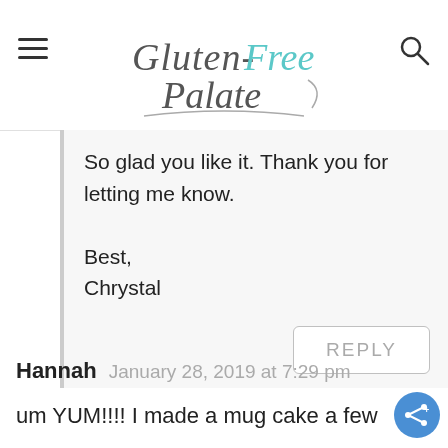Gluten-Free Palate
So glad you like it. Thank you for letting me know.

Best,
Chrystal
REPLY
Hannah   January 28, 2019 at 7:29 pm
um YUM!!!! I made a mug cake a few